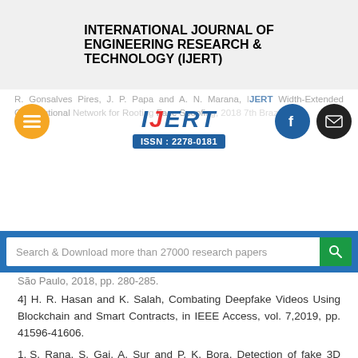INTERNATIONAL JOURNAL OF ENGINEERING RESEARCH & TECHNOLOGY (IJERT)
[Figure (logo): IJERT logo with ISSN: 2278-0181, navigation icons (hamburger menu, facebook, email), overlaid on partial reference text]
Search & Download more than 27000 research papers
São Paulo, 2018, pp. 280-285.
4] H. R. Hasan and K. Salah, Combating Deepfake Videos Using Blockchain and Smart Contracts, in IEEE Access, vol. 7,2019, pp. 41596-41606.
1. S. Rana, S. Gaj, A. Sur and P. K. Bora, Detection of fake 3D video using CNN, 2016 IEEE 18th International Workshop on Multimedia Signal Processing (MMSP)